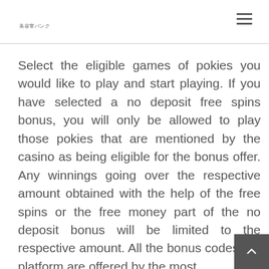美容室バンク
Select the eligible games of pokies you would like to play and start playing. If you have selected a no deposit free spins bonus, you will only be allowed to play those pokies that are mentioned by the casino as being eligible for the bonus offer. Any winnings going over the respective amount obtained with the help of the free spins or the free money part of the no deposit bonus will be limited to the respective amount. All the bonus codes our platform are offered by the most